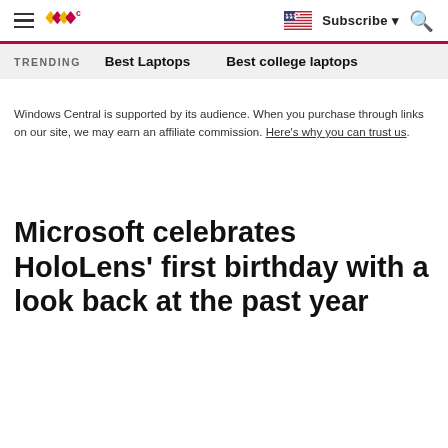Windows Central — hamburger menu, logo, flag, Subscribe, search
TRENDING   Best Laptops   Best college laptops
Windows Central is supported by its audience. When you purchase through links on our site, we may earn an affiliate commission. Here's why you can trust us.
Microsoft celebrates HoloLens' first birthday with a look back at the past year